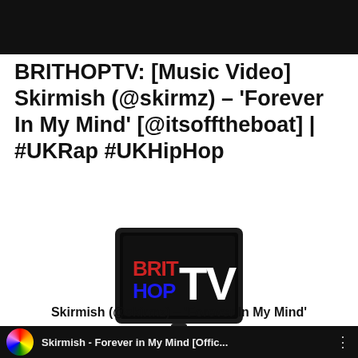[Figure (other): Black top banner / video thumbnail placeholder]
BRITHOPTV: [Music Video] Skirmish (@skirmz) – 'Forever In My Mind' [@itsofftheboat] | #UKRap #UKHipHop
[Figure (logo): BritHopTV logo — a flat-screen television displaying the text BRIT HOP TV]
Skirmish (@skirmz) – 'Forever In My Mind'
[Figure (screenshot): YouTube video thumbnail row showing 'Skirmish - Forever in My Mind [Offic...' with a colourful circular avatar and three-dot menu]